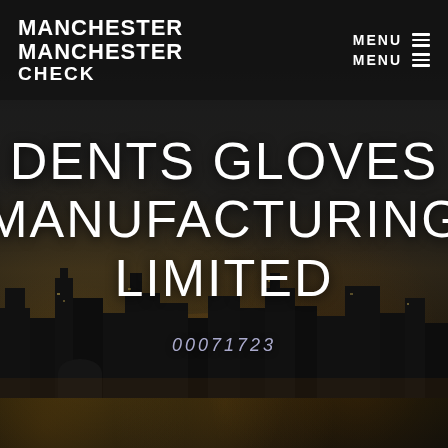MANCHESTER MANCHESTER CHECK | MENU MENU
DENTS GLOVES (MANUFACTURING) LIMITED
00071723